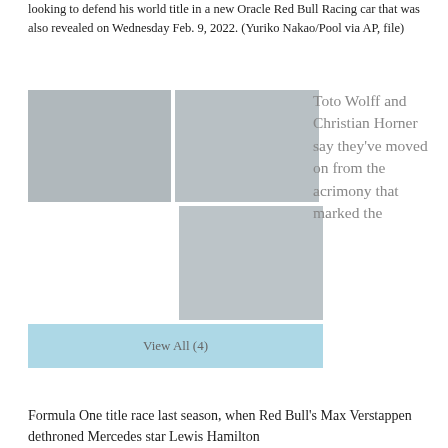looking to defend his world title in a new Oracle Red Bull Racing car that was also revealed on Wednesday Feb. 9, 2022. (Yuriko Nakao/Pool via AP, file)
[Figure (photo): Portrait photo of a man in a tuxedo (Toto Wolff)]
[Figure (photo): Mercedes F1 car with Petronas livery on track]
[Figure (photo): Red Bull F1 car with Oracle livery on track]
View All (4)
Toto Wolff and Christian Horner say they've moved on from the acrimony that marked the Formula One title race last season, when Red Bull's Max Verstappen dethroned Mercedes star Lewis Hamilton